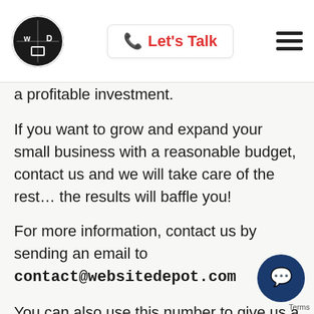Website Depot logo | Let's Talk | Hamburger menu
a profitable investment.
If you want to grow and expand your small business with a reasonable budget, contact us and we will take care of the rest… the results will baffle you!
For more information, contact us by sending an email to contact@websitedepot.com
You can also use this number to give us a call and receive consultation: (888) 477-9540
Use our website to leave a message or tell u about your project. Our experts are prepared to